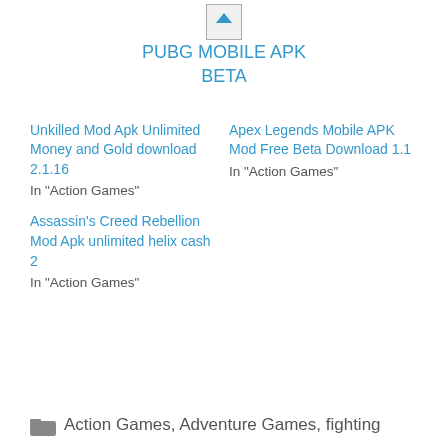[Figure (photo): Broken image placeholder for PUBG MOBILE APK BETA]
PUBG MOBILE APK BETA
Unkilled Mod Apk Unlimited Money and Gold download 2.1.16
In "Action Games"
Apex Legends Mobile APK Mod Free Beta Download 1.1
In "Action Games"
Assassin's Creed Rebellion Mod Apk unlimited helix cash 2
In "Action Games"
Action Games, Adventure Games, fighting